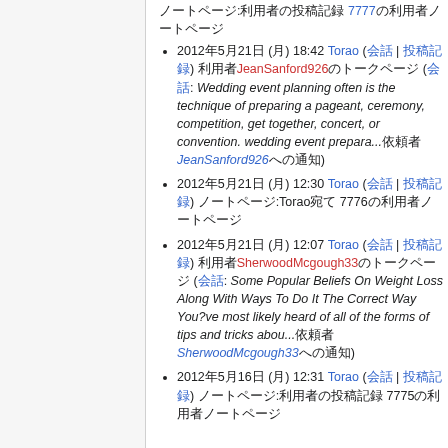ノートページ:利用者の投稿記録 7777の利用者ノートページ
2012年5月21日 (月) 18:42 Torao (会話 | 投稿記録) 利用者JeanSanford926のトークページ (会話:Wedding event planning often is the technique of preparing a pageant, ceremony, competition, get together, concert, or convention. wedding event prepara...依頼者JeanSanford926への通知)
2012年5月21日 (月) 12:30 Torao (会話 | 投稿記録) ノートページ:Torao宛て 7776の利用者ノートページ
2012年5月21日 (月) 12:07 Torao (会話 | 投稿記録) 利用者SherwoodMcgough33のトークページ (会話:Some Popular Beliefs On Weight Loss Along With Ways To Do It The Correct Way You?ve most likely heard of all of the forms of tips and tricks abou...依頼者SherwoodMcgough33への通知)
2012年5月16日 (月) 12:31 Torao (会話 | 投稿記録) ノートページ:利用者の投稿記録 7775の利用者ノートページ